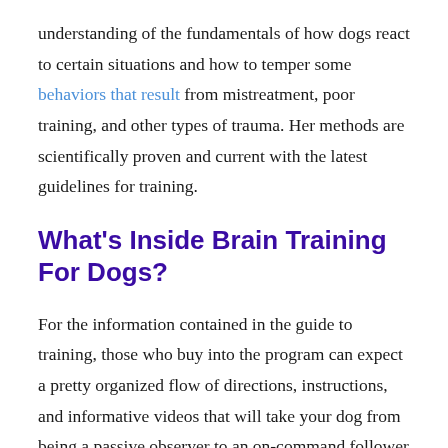understanding of the fundamentals of how dogs react to certain situations and how to temper some behaviors that result from mistreatment, poor training, and other types of trauma. Her methods are scientifically proven and current with the latest guidelines for training.
What's Inside Brain Training For Dogs?
For the information contained in the guide to training, those who buy into the program can expect a pretty organized flow of directions, instructions, and informative videos that will take your dog from being a passive observer to an on-command follower. Each of the steps inside Brain Training for Dogs was developed to help ease the learning process by incorporating a school-like progression level where the dog and the trainer are taught how communicate, teach and then grow with one another.